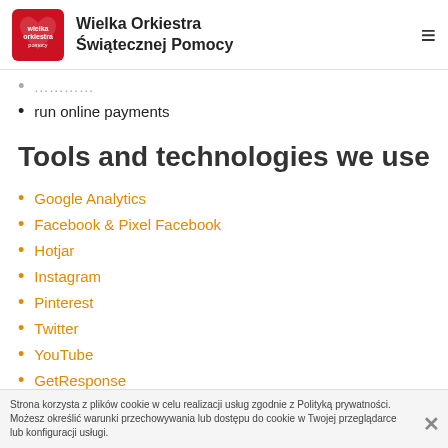Wielka Orkiestra Świątecznej Pomocy
…(partial, clipped)
run online payments
Tools and technologies we use
Google Analytics
Facebook & Pixel Facebook
Hotjar
Instagram
Pinterest
Twitter
YouTube
GetResponse
Esri
Strona korzysta z plików cookie w celu realizacji usług zgodnie z Polityką prywatności. Możesz określić warunki przechowywania lub dostępu do cookie w Twojej przeglądarce lub konfiguracji usługi.